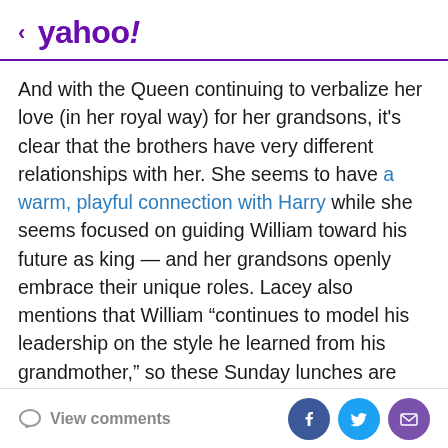< yahoo!
And with the Queen continuing to verbalize her love (in her royal way) for her grandsons, it's clear that the brothers have very different relationships with her. She seems to have a warm, playful connection with Harry while she seems focused on guiding William toward his future as king — and her grandsons openly embrace their unique roles. Lacey also mentions that William “continues to model his leadership on the style he learned from his grandmother,” so these Sunday lunches are crucial to honoring her wishes. The royal author’s insights indicate how different the brothers are in terms of personalities, passions and their journey in life — and it looks like the Queen has nourished both relationships
View comments